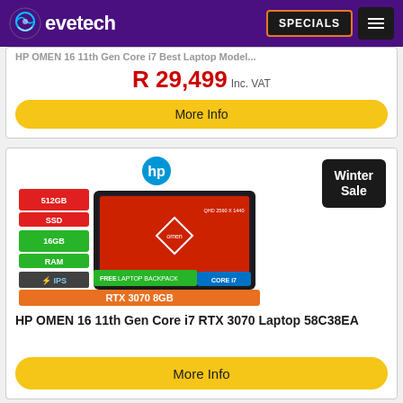evetech — SPECIALS
HP OMEN 16 11th Gen Core i7 Laptop — R 29,499 Inc. VAT
More Info
[Figure (photo): HP OMEN 16 laptop product image with specs: 512GB SSD, 16GB RAM, IPS display, QHD 2560x1440, RTX 3070 8GB, FREE Laptop Backpack. Winter Sale badge.]
HP OMEN 16 11th Gen Core i7 RTX 3070 Laptop 58C38EA
R 29,999 Inc. VAT
More Info